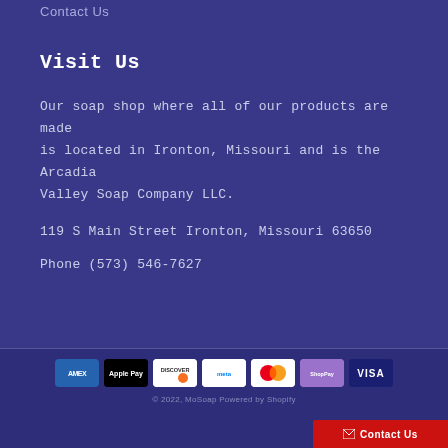Contact Us
Visit Us
Our soap shop where all of our products are made is located in Ironton, Missouri and is the Arcadia Valley Soap Company LLC.
119 S Main Street Ironton, Missouri 63650
Phone (573) 546-7627
[Figure (other): Payment method icons: American Express, Apple Pay, Discover, Meta Pay, Mastercard, Shop Pay, Visa]
© 2022, MoSoap Powered by Shopify
Contact Us